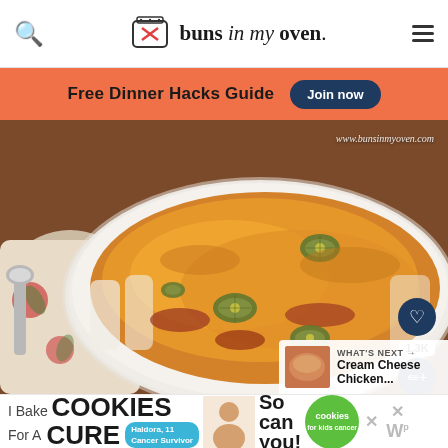buns in my oven.
[Figure (infographic): Orange banner with text 'Free Dinner Hacks Guide' and a dark blue 'Join now' button]
[Figure (photo): Close-up photo of cheesy enchiladas in a white baking dish, topped with melted cheddar cheese and sliced jalapeños, with a floral napkin and spoon on the side. Watermark: www.bunsinmyoven.com. Heart/save button showing 1.3K shares, and a 'What's Next' overlay showing Cream Cheese Chicken...]
[Figure (infographic): Advertisement banner: 'I Bake COOKIES For A CURE' with Haldora 11 Cancer Survivor badge, photo of a woman, 'So can you!' text, green Cookies for Kids Cancer badge, and close buttons]